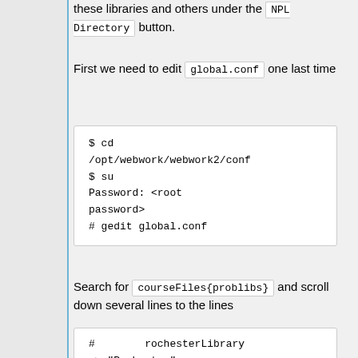these libraries and others under the NPL Directory button.
First we need to edit global.conf one last time
$ cd /opt/webwork/webwork2/conf
$ su
Password: <root password>
# gedit global.conf
Search for courseFiles{problibs} and scroll down several lines to the lines
#        rochesterLibrary
=> "Rochester",
#        unionLibrary